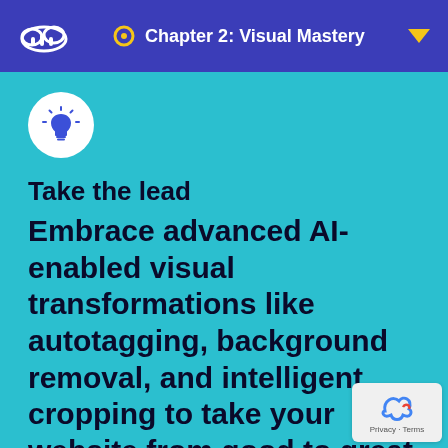Chapter 2: Visual Mastery
[Figure (illustration): White lightbulb icon with radiating lines inside a white circle on a teal background]
Take the lead
Embrace advanced AI-enabled visual transformations like autotagging, background removal, and intelligent cropping to take your website from good to great